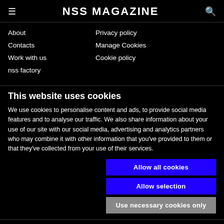NSS MAGAZINE
About
Privacy policy
Contacts
Manage Cookies
Work with us
Cookie policy
nss factory
This website uses cookies
We use cookies to personalise content and ads, to provide social media features and to analyse our traffic. We also share information about your use of our site with our social media, advertising and analytics partners who may combine it with other information that you've provided to them or that they've collected from your use of their services.
Allow all cookies
Allow selection
Use necessary cookies only
Necessary  Preferences  Statistics  Marketing  Show details